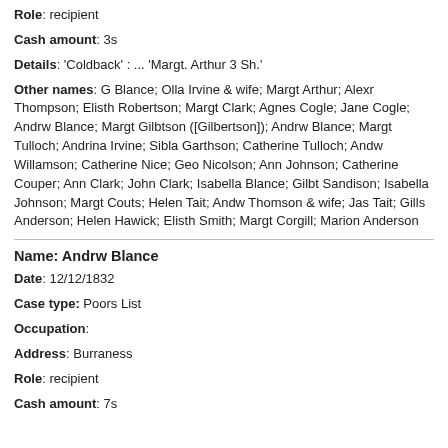Role: recipient
Cash amount: 3s
Details: 'Coldback' : ... 'Margt. Arthur 3 Sh.'
Other names: G Blance; Olla Irvine & wife; Margt Arthur; Alexr Thompson; Elisth Robertson; Margt Clark; Agnes Cogle; Jane Cogle; Andrw Blance; Margt Gilbtson ([Gilbertson]); Andrw Blance; Margt Tulloch; Andrina Irvine; Sibla Garthson; Catherine Tulloch; Andw Willamson; Catherine Nice; Geo Nicolson; Ann Johnson; Catherine Couper; Ann Clark; John Clark; Isabella Blance; Gilbt Sandison; Isabella Johnson; Margt Couts; Helen Tait; Andw Thomson & wife; Jas Tait; Gills Anderson; Helen Hawick; Elisth Smith; Margt Corgill; Marion Anderson
Name: Andrw Blance
Date: 12/12/1832
Case type: Poors List
Occupation:
Address: Burraness
Role: recipient
Cash amount: 7s